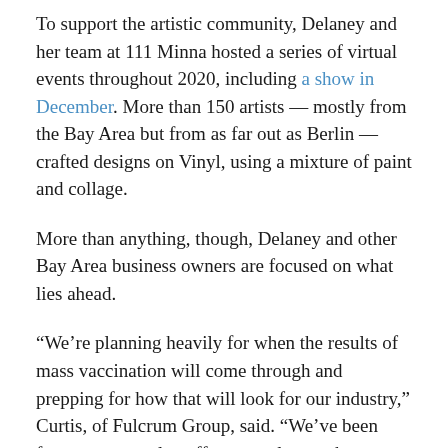To support the artistic community, Delaney and her team at 111 Minna hosted a series of virtual events throughout 2020, including a show in December. More than 150 artists — mostly from the Bay Area but from as far out as Berlin — crafted designs on Vinyl, using a mixture of paint and collage.
More than anything, though, Delaney and other Bay Area business owners are focused on what lies ahead.
“We’re planning heavily for when the results of mass vaccination will come through and prepping for how that will look for our industry,” Curtis, of Fulcrum Group, said. “We’ve been fortunate to not lay off any employees, because we have to be ready to go once vaccinations have been widely administered.”
Even the entrepreneurs who have managed to cushion the